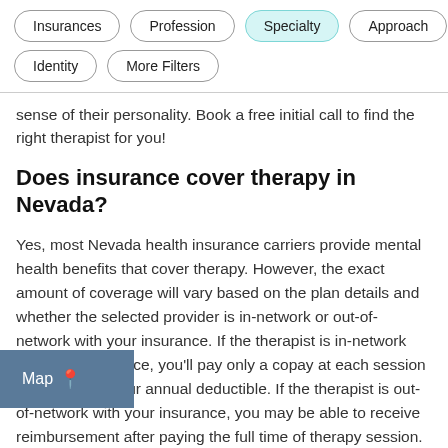Insurances | Profession | Specialty | Approach | Identity | More Filters
sense of their personality. Book a free initial call to find the right therapist for you!
Does insurance cover therapy in Nevada?
Yes, most Nevada health insurance carriers provide mental health benefits that cover therapy. However, the exact amount of coverage will vary based on the plan details and whether the selected provider is in-network or out-of-network with your insurance. If the therapist is in-network with your insurance, you'll pay only a copay at each session after meeting your annual deductible. If the therapist is out-of-network with your insurance, you may be able to receive reimbursement after paying the full time of therapy session. If you have a PPO or POS insurance plan, you can likely receive some
[Figure (other): Map button overlay in bottom-left corner with location pin icon]